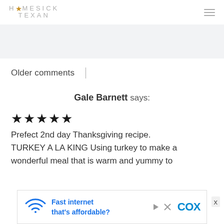HOMESICK TEXAN
Older comments
Gale Barnett says:
★★★★★
Prefect 2nd day Thanksgiving recipe. TURKEY A LA KING Using turkey to make a wonderful meal that is warm and yummy to
[Figure (screenshot): Advertisement banner for Cox internet service reading 'Fast internet that's affordable?' with wifi logo and Cox branding]